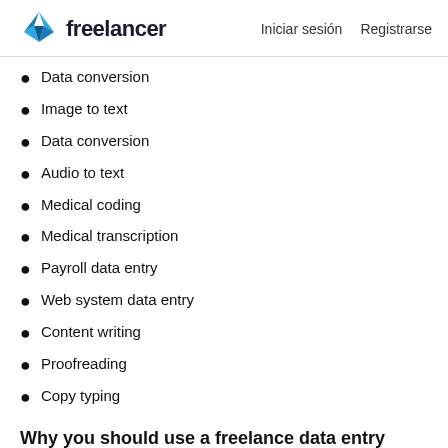Freelancer | Iniciar sesión | Registrarse
Data conversion
Image to text
Data conversion
Audio to text
Medical coding
Medical transcription
Payroll data entry
Web system data entry
Content writing
Proofreading
Copy typing
Why you should use a freelance data entry expert
As we mentioned, data entry is crucial for any business. But, it's also time-consuming and takes your attention away from higher value activities. Handing your data entry